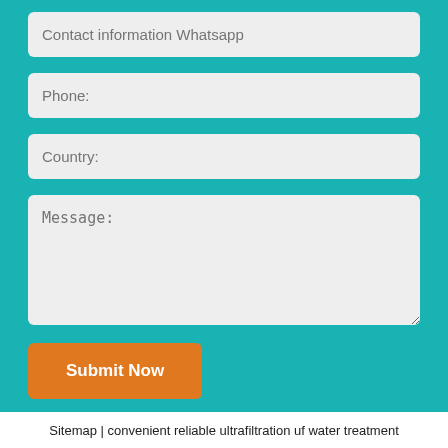Contact information Whatsapp
Phone:
Country:
Message:
Submit Now
Sitemap | convenient reliable ultrafiltration uf water treatment